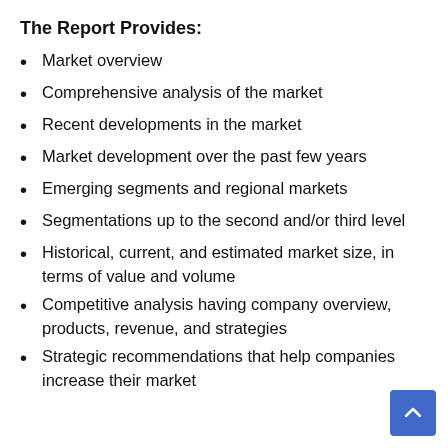The Report Provides:
Market overview
Comprehensive analysis of the market
Recent developments in the market
Market development over the past few years
Emerging segments and regional markets
Segmentations up to the second and/or third level
Historical, current, and estimated market size, in terms of value and volume
Competitive analysis having company overview, products, revenue, and strategies
Strategic recommendations that help companies increase their market